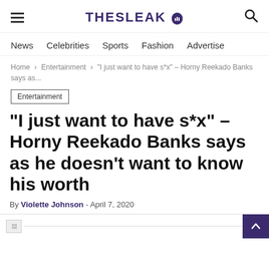THESLEAK
News  Celebrities  Sports  Fashion  Advertise
Home › Entertainment › "I just want to have s*x" – Horny Reekado Banks says as...
Entertainment
“I just want to have s*x” – Horny Reekado Banks says as he doesn’t want to know his worth
By Violette Johnson - April 7, 2020
[Figure (photo): Article image placeholder (broken image icon) with back-to-top button]